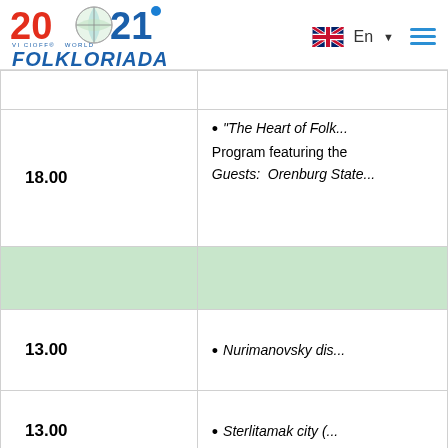2021 VI CIOFF World Folkloriada — En
| Time | Event |
| --- | --- |
|  |  |
| 18.00 | "The Heart of Folk...
Program featuring the...
Guests: Orenburg State... |
|  |  |
| 13.00 | Nurimanovsky dis... |
| 13.00 | Sterlitamak city (... |